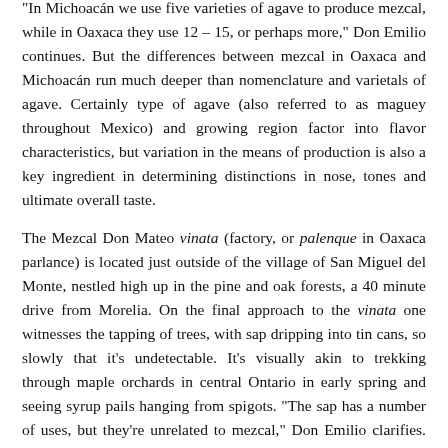“In Michoacán we use five varieties of agave to produce mezcal, while in Oaxaca they use 12 – 15, or perhaps more,” Don Emilio continues. But the differences between mezcal in Oaxaca and Michoacán run much deeper than nomenclature and varietals of agave. Certainly type of agave (also referred to as maguey throughout Mexico) and growing region factor into flavor characteristics, but variation in the means of production is also a key ingredient in determining distinctions in nose, tones and ultimate overall taste.
The Mezcal Don Mateo vinata (factory, or palenque in Oaxaca parlance) is located just outside of the village of San Miguel del Monte, nestled high up in the pine and oak forests, a 40 minute drive from Morelia. On the final approach to the vinata one witnesses the tapping of trees, with sap dripping into tin cans, so slowly that it’s undetectable. It’s visually akin to trekking through maple orchards in central Ontario in early spring and seeing syrup pails hanging from spigots. “The sap has a number of uses, but they’re unrelated to mezcal,” Don Emilio clarifies. “It’s just that these trees and the agave we use are equally suited to this elevation and other climatic conditions.”